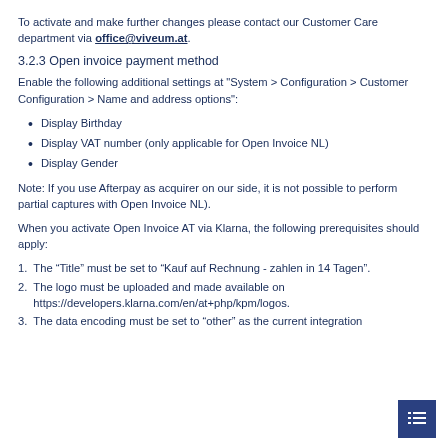To activate and make further changes please contact our Customer Care department via office@viveum.at.
3.2.3 Open invoice payment method
Enable the following additional settings at "System > Configuration > Customer Configuration > Name and address options":
Display Birthday
Display VAT number (only applicable for Open Invoice NL)
Display Gender
Note: If you use Afterpay as acquirer on our side, it is not possible to perform partial captures with Open Invoice NL).
When you activate Open Invoice AT via Klarna, the following prerequisites should apply:
1. The “Title” must be set to “Kauf auf Rechnung - zahlen in 14 Tagen”.
2. The logo must be uploaded and made available on https://developers.klarna.com/en/at+php/kpm/logos.
3. The data encoding must be set to “other” as the current integration